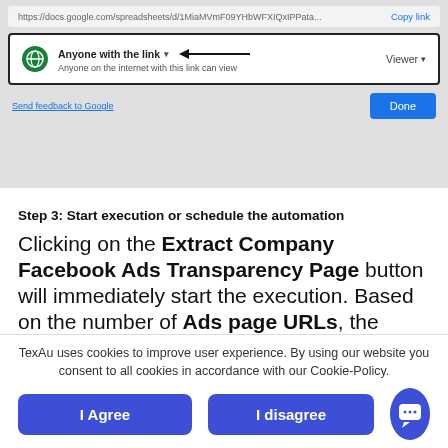[Figure (screenshot): Google Sheets share dialog showing 'Anyone with the link' option with Viewer permission, URL bar, Copy link button, Done button, and Send feedback to Google link. An arrow points to 'Anyone with the link' dropdown.]
Step 3: Start execution or schedule the automation
Clicking on the Extract Company Facebook Ads Transparency Page button will immediately start the execution. Based on the number of Ads page URLs, the execution time
TexAu uses cookies to improve user experience. By using our website you consent to all cookies in accordance with our Cookie-Policy.
I Agree
I disagree